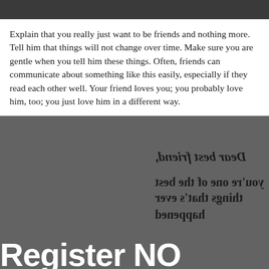Explain that you really just want to be friends and nothing more. Tell him that things will not change over time. Make sure you are gentle when you tell him these things. Often, friends can communicate about something like this easily, especially if they read each other well. Your friend loves you; you probably love him, too; you just love him in a different way.
[Figure (other): Dark gray background image with mirrored/reversed text reading 'Dear best friend, you're one of the best things that's ever happened' overlaid with a large white 'Register NO' watermark/button text at the bottom.]